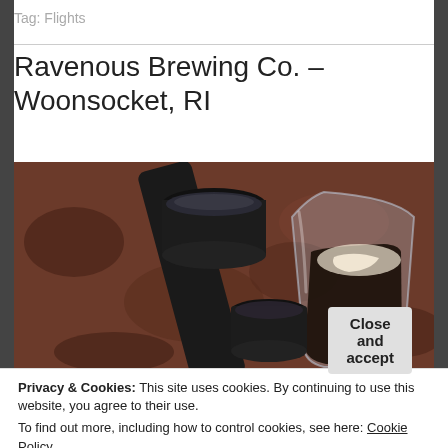Tag: Flights
Ravenous Brewing Co. – Woonsocket, RI
[Figure (photo): Photo of craft beer flight glasses and small cups on a dark stone/granite surface at Ravenous Brewing Co.]
Privacy & Cookies: This site uses cookies. By continuing to use this website, you agree to their use.
To find out more, including how to control cookies, see here: Cookie Policy
Close and accept
weekend as Tom Brady's Super Bowl jersey has